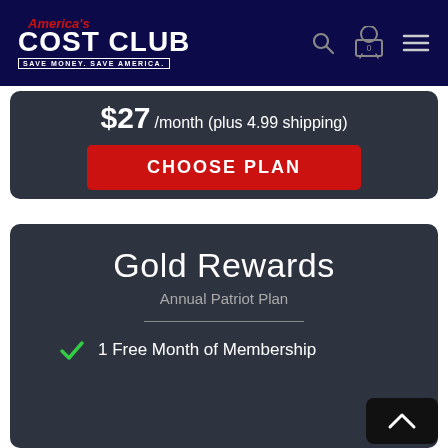America's COST CLUB — SAVE MONEY. SAVE AMERICA.
$27 /month (plus 4.99 shipping)
CHOOSE PLAN
Gold Rewards
Annual Patriot Plan
1 Free Month of Membership